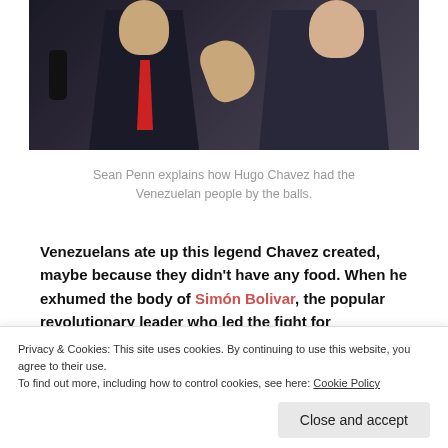[Figure (photo): Two men in suits, one gesturing with hand, one with red tie; appears to be a press conference setting]
Sean Penn explains how Hugo Chavez had the Venezuelan people by the balls.
Venezuelans ate up this legend Chavez created, maybe because they didn't have any food. When he exhumed the body of Simón Bolivar, the popular revolutionary leader who led the fight for independence of much of South America from the Spanish, in a clear attempt to
Privacy & Cookies: This site uses cookies. By continuing to use this website, you agree to their use.
To find out more, including how to control cookies, see here: Cookie Policy
Close and accept